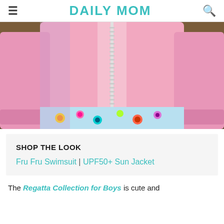DAILY MOM
[Figure (photo): Child wearing a pink long-sleeve zip-up UPF sun jacket over a colorful floral swimsuit, hands on hips, outdoor background]
SHOP THE LOOK
Fru Fru Swimsuit | UPF50+ Sun Jacket
The Regatta Collection for Boys is cute and